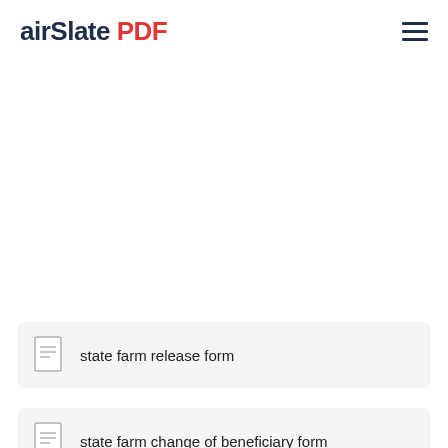airSlate PDF
state farm release form
state farm change of beneficiary form